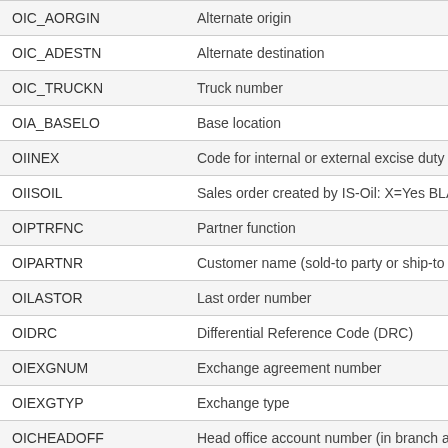| Field | Description |
| --- | --- |
| OIC_AORGIN | Alternate origin |
| OIC_ADESTN | Alternate destination |
| OIC_TRUCKN | Truck number |
| OIA_BASELO | Base location |
| OIINEX | Code for internal or external excise duty r |
| OIISOIL | Sales order created by IS-Oil: X=Yes BLA |
| OIPTRFNC | Partner function |
| OIPARTNR | Customer name (sold-to party or ship-to p |
| OILASTOR | Last order number |
| OIDRC | Differential Reference Code (DRC) |
| OIEXGNUM | Exchange agreement number |
| OIEXGTYP | Exchange type |
| OICHEADOFF | Head office account number (in branch a |
| OIPBL | Business location identifier (IS-Oil MRN) |
| OIRRESTR | Contract restrictions flag |